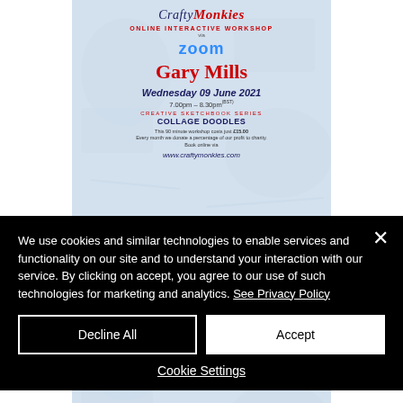[Figure (screenshot): CraftyMonkies Online Interactive Workshop via Zoom with Gary Mills, Wednesday 09 June 2021, 7.00pm-8.30pm (BST), Creative Sketchbook Series: Collage Doodles, £15.00, www.craftymonkies.com]
[Figure (screenshot): CraftyMonkies Online Interactive Workshop via Zoom with Gary Mills (partial view, bottom cut off by cookie banner)]
We use cookies and similar technologies to enable services and functionality on our site and to understand your interaction with our service. By clicking on accept, you agree to our use of such technologies for marketing and analytics. See Privacy Policy
Decline All
Accept
Cookie Settings